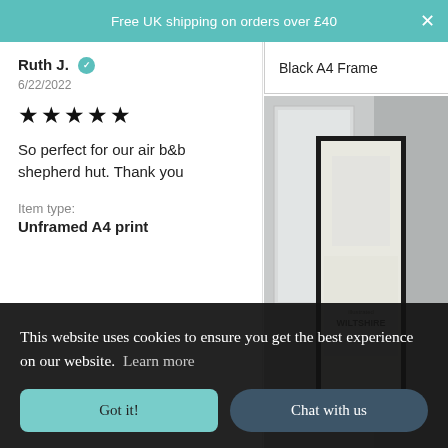Free UK shipping on orders over £40
Ruth J. ✓
6/22/2022
★★★★★
So perfect for our air b&b shepherd hut. Thank you
Item type:
Unframed A4 print
Black A4 Frame
[Figure (photo): Framed Wiltshire art print displayed on a white wall]
[Figure (photo): Framed photos on a shelf in a room]
CAROLINA C. ✓
This website uses cookies to ensure you get the best experience on our website. Learn more
Got it!
Chat with us